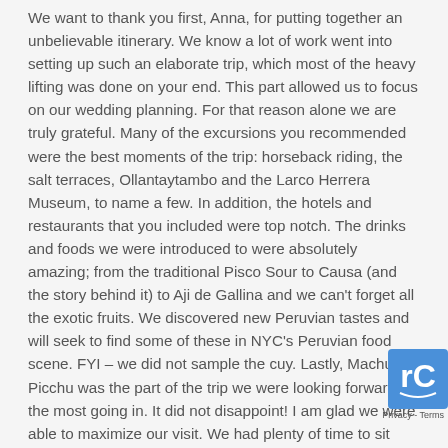We want to thank you first, Anna, for putting together an unbelievable itinerary. We know a lot of work went into setting up such an elaborate trip, which most of the heavy lifting was done on your end. This part allowed us to focus on our wedding planning. For that reason alone we are truly grateful. Many of the excursions you recommended were the best moments of the trip: horseback riding, the salt terraces, Ollantaytambo and the Larco Herrera Museum, to name a few. In addition, the hotels and restaurants that you included were top notch. The drinks and foods we were introduced to were absolutely amazing; from the traditional Pisco Sour to Causa (and the story behind it) to Aji de Gallina and we can't forget all the exotic fruits. We discovered new Peruvian tastes and will seek to find some of these in NYC's Peruvian food scene. FYI – we did not sample the cuy. Lastly, Machu Picchu was the part of the trip we were looking forward to the most going in. It did not disappoint! I am glad we were able to maximize our visit. We had plenty of time to sit back and marvel at this great beauty. You truly deserve to be recognized for the service you provide.
[Figure (logo): reCAPTCHA logo with Privacy - Terms links]